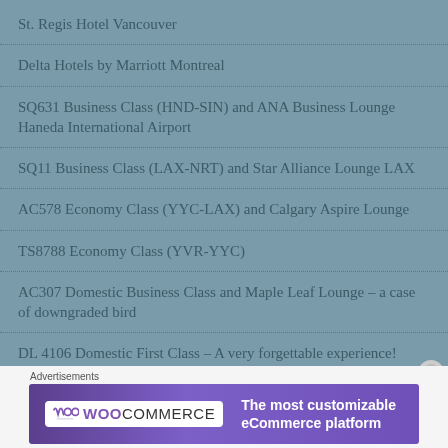St. Regis Hotel Vancouver
Delta Hotels by Marriott Montreal
SQ631 Business Class (HND-SIN) and ANA Business Lounge Haneda International Airport
SQ11 Business Class (LAX-NRT) and Star Alliance Lounge LAX
AC578 Economy Class (YYC-LAX) and Calgary Aspire Lounge
TS8788 Economy Class (YVR-YYC)
AC307 Domestic Business Class and Maple Leaf Lounge – a case of downgraded bird
DL 4106 Domestic First Class – A very forgettable experience!
[Figure (other): WooCommerce advertisement banner: 'The most customizable eCommerce platform']